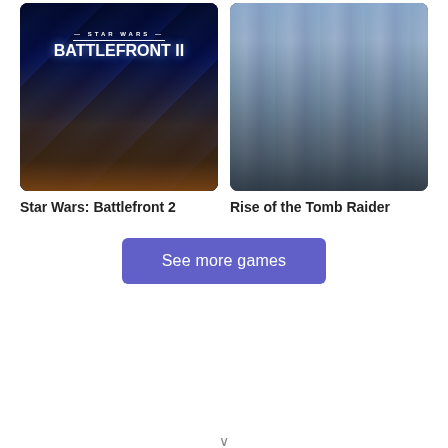[Figure (illustration): Star Wars: Battlefront 2 game cover art showing sci-fi battle scene with characters, a pyramid-like structure, and blue atmospheric lighting with the STAR WARS BATTLEFRONT II logo]
Star Wars: Battlefront 2
[Figure (illustration): Rise of the Tomb Raider game cover art showing Lara Croft in a snowy mountainous environment holding climbing axes, wearing tactical gear]
Rise of the Tomb Raider
See more games